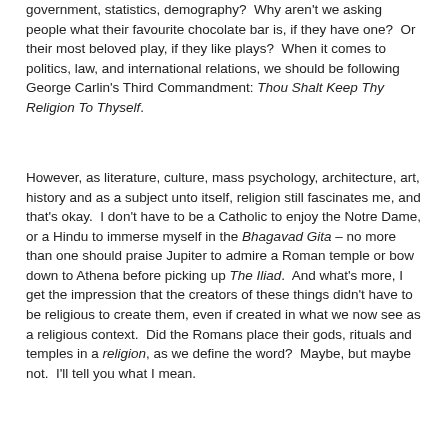government, statistics, demography?  Why aren't we asking people what their favourite chocolate bar is, if they have one?  Or their most beloved play, if they like plays?  When it comes to politics, law, and international relations, we should be following George Carlin's Third Commandment: Thou Shalt Keep Thy Religion To Thyself.
However, as literature, culture, mass psychology, architecture, art, history and as a subject unto itself, religion still fascinates me, and that's okay.  I don't have to be a Catholic to enjoy the Notre Dame, or a Hindu to immerse myself in the Bhagavad Gita – no more than one should praise Jupiter to admire a Roman temple or bow down to Athena before picking up The Iliad.  And what's more, I get the impression that the creators of these things didn't have to be religious to create them, even if created in what we now see as a religious context.  Did the Romans place their gods, rituals and temples in a religion, as we define the word?  Maybe, but maybe not.  I'll tell you what I mean.